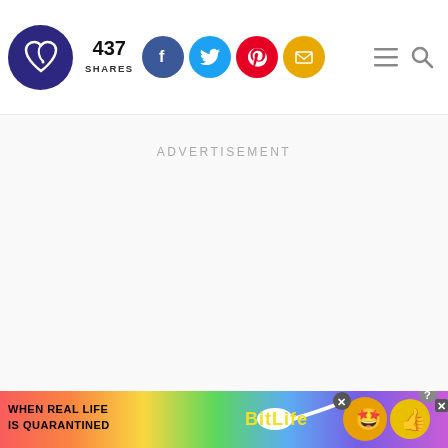[Figure (logo): Website logo: dark blue/purple circle with a heart and needle/hook icon inside]
437 SHARES
[Figure (infographic): Social share buttons: Facebook (blue circle), Twitter (light blue circle), Pinterest (red circle), Email (yellow/gold circle)]
[Figure (infographic): Hamburger menu icon and search icon on the right side of the header]
ADVERTISEMENT
[Figure (screenshot): Bottom banner advertisement for BitLife game: rainbow background, text 'WHEN REAL LIFE IS QUARANTINED', sperm icon, BitLife logo in yellow, emoji characters with mask and star-eyes, close/X buttons]